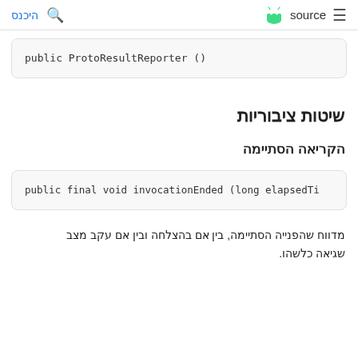היכנס | search | source | menu
public ProtoResultReporter ()
שיטות ציבוריות
הקריאה הסתיימה
public final void invocationEnded (long elapsedTi
מדווח שהפנייה הסתיימה, בין אם בהצלחה ובין אם עקב מצב שגיאה כלשהו.